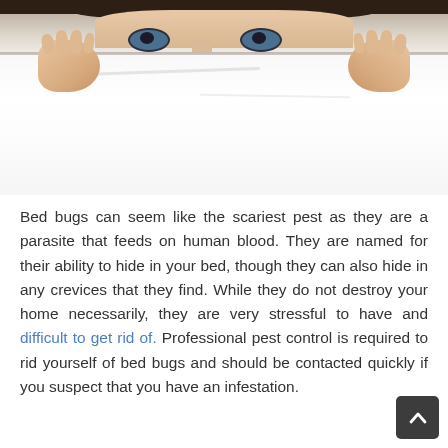[Figure (photo): Person peeking over a white sheet/blanket, showing only their eyes and forehead with dark hair, hands gripping the top edge of the sheet on both sides.]
Bed bugs can seem like the scariest pest as they are a parasite that feeds on human blood. They are named for their ability to hide in your bed, though they can also hide in any crevices that they find. While they do not destroy your home necessarily, they are very stressful to have and difficult to get rid of. Professional pest control is required to rid yourself of bed bugs and should be contacted quickly if you suspect that you have an infestation.